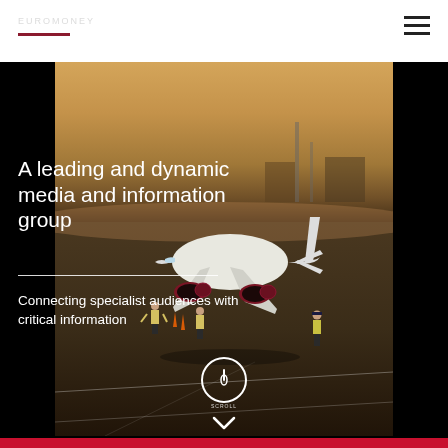[Figure (photo): Aerial view of a large commercial aircraft (white with dark red/maroon engine cowlings) on a tarmac/runway at dusk, with ground crew workers in yellow high-visibility vests visible near the aircraft. The background shows an industrial/airport setting with warm golden-orange light.]
A leading and dynamic media and information group
Connecting specialist audiences with critical information